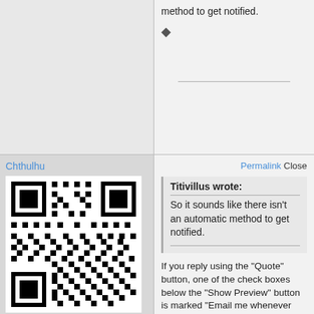method to get notified.
♦
Chthulhu
[Figure (other): QR code image in black and white]
Rawr.
Status: Offline
Posts: 774
Date: Sun Jan 3 3:37 PM, 2010
Permalink Closed
Titivillus wrote:
So it sounds like there isn't an automatic method to get notified.
If you reply using the "Quote" button, one of the check boxes below the "Show Preview" button is marked "Email me whenever there is a new post to this topic."
Mike Hungerford
http://goo.gl/dUVnUZ